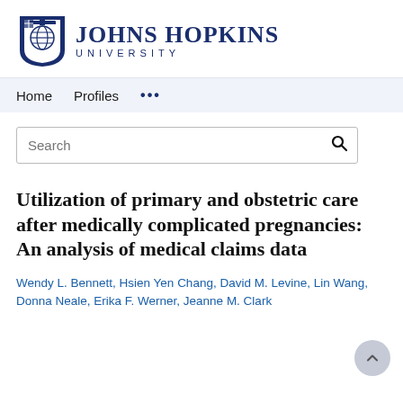[Figure (logo): Johns Hopkins University logo with shield and wordmark]
Home   Profiles   ...
Search
Utilization of primary and obstetric care after medically complicated pregnancies: An analysis of medical claims data
Wendy L. Bennett, Hsien Yen Chang, David M. Levine, Lin Wang, Donna Neale, Erika F. Werner, Jeanne M. Clark